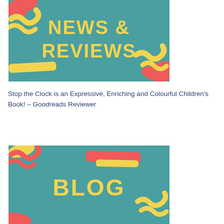[Figure (illustration): Teal/turquoise background banner image with yellow hand-lettered text reading 'NEWS & REVIEWS' and colorful painted brush stroke decorations in yellow and red/coral in the corners]
Stop the Clock is an Expressive, Enriching and Colourful Children’s Book! – Goodreads Reviewer
[Figure (illustration): Teal/turquoise background banner image with yellow hand-lettered text reading 'BLOG' and colorful painted brush stroke decorations in yellow and red/coral in the corners]